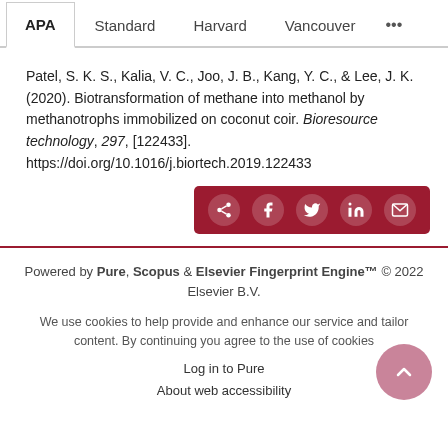APA  Standard  Harvard  Vancouver  ...
Patel, S. K. S., Kalia, V. C., Joo, J. B., Kang, Y. C., & Lee, J. K. (2020). Biotransformation of methane into methanol by methanotrophs immobilized on coconut coir. Bioresource technology, 297, [122433]. https://doi.org/10.1016/j.biortech.2019.122433
[Figure (other): Share buttons bar: share icon, Facebook, Twitter, LinkedIn, email icons on dark red background]
Powered by Pure, Scopus & Elsevier Fingerprint Engine™ © 2022 Elsevier B.V.
We use cookies to help provide and enhance our service and tailor content. By continuing you agree to the use of cookies
Log in to Pure
About web accessibility